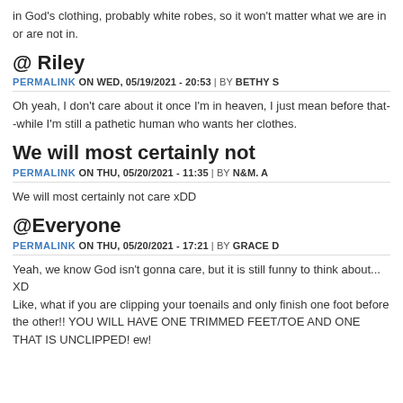in God's clothing, probably white robes, so it won't matter what we are in or are not in.
@ Riley
PERMALINK ON WED, 05/19/2021 - 20:53 | BY BETHY S
Oh yeah, I don't care about it once I'm in heaven, I just mean before that--while I'm still a pathetic human who wants her clothes.
We will most certainly not
PERMALINK ON THU, 05/20/2021 - 11:35 | BY N&M. A
We will most certainly not care xDD
@Everyone
PERMALINK ON THU, 05/20/2021 - 17:21 | BY GRACE D
Yeah, we know God isn't gonna care, but it is still funny to think about... XD
Like, what if you are clipping your toenails and only finish one foot before the other!! YOU WILL HAVE ONE TRIMMED FEET/TOE AND ONE THAT IS UNCLIPPED! ew!